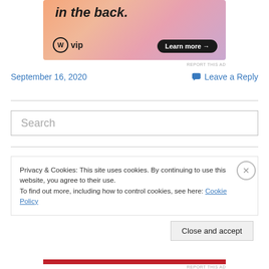[Figure (other): WordPress VIP advertisement banner with colorful gradient background, 'in the back.' text, WordPress VIP logo, and 'Learn more →' button]
REPORT THIS AD
September 16, 2020
Leave a Reply
Search
Privacy & Cookies: This site uses cookies. By continuing to use this website, you agree to their use.
To find out more, including how to control cookies, see here: Cookie Policy
Close and accept
REPORT THIS AD